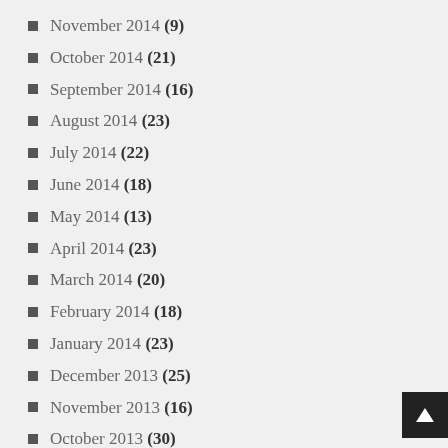November 2014 (9)
October 2014 (21)
September 2014 (16)
August 2014 (23)
July 2014 (22)
June 2014 (18)
May 2014 (13)
April 2014 (23)
March 2014 (20)
February 2014 (18)
January 2014 (23)
December 2013 (25)
November 2013 (16)
October 2013 (30)
September 2013 (24)
August 2013 (25)
July 2013 (15)